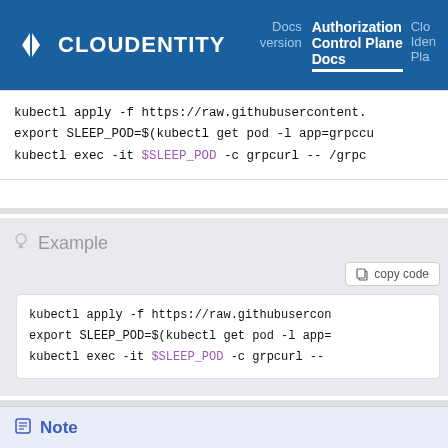CLOUDENTITY | Docs version | Authorization Control Plane Docs | Clo... Iden... Pla...
kubectl apply -f https://raw.githubusercontent.
export SLEEP_POD=$(kubectl get pod -l app=grpcu
kubectl exec -it $SLEEP_POD -c grpcurl -- /grpc
Example
kubectl apply -f https://raw.githubusercon
export SLEEP_POD=$(kubectl get pod -l app=
kubectl exec -it $SLEEP_POD -c grpcurl --
Note